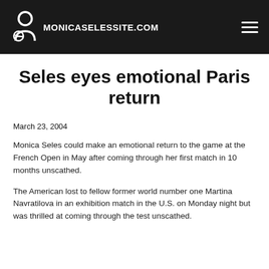MONICASELESSITE.COM
Seles eyes emotional Paris return
March 23, 2004
Monica Seles could make an emotional return to the game at the French Open in May after coming through her first match in 10 months unscathed.
The American lost to fellow former world number one Martina Navratilova in an exhibition match in the U.S. on Monday night but was thrilled at coming through the test unscathed.